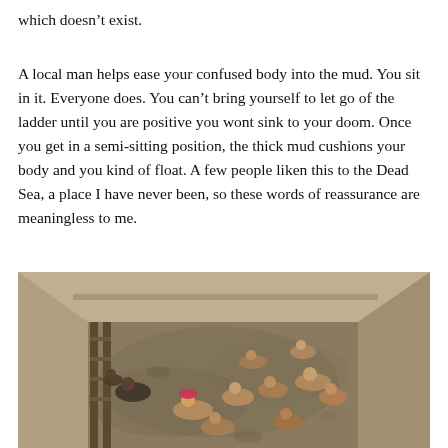which doesn't exist.
A local man helps ease your confused body into the mud. You sit in it. Everyone does. You can't bring yourself to let go of the ladder until you are positive you wont sink to your doom. Once you get in a semi-sitting position, the thick mud cushions your body and you kind of float. A few people liken this to the Dead Sea, a place I have never been, so these words of reassurance are meaningless to me.
[Figure (photo): Aerial view of a large rectangular mud pool with many people sitting and floating in thick grey mud, surrounded by concrete or clay walls, viewed from above.]